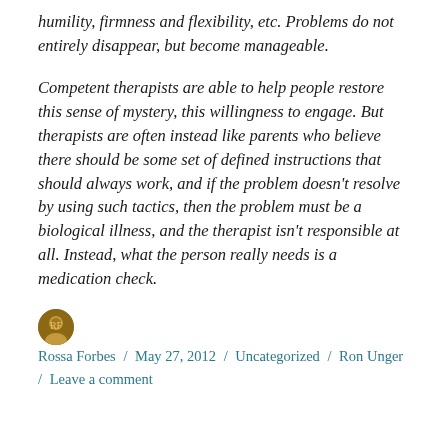humility, firmness and flexibility, etc. Problems do not entirely disappear, but become manageable.
Competent therapists are able to help people restore this sense of mystery, this willingness to engage. But therapists are often instead like parents who believe there should be some set of defined instructions that should always work, and if the problem doesn't resolve by using such tactics, then the problem must be a biological illness, and the therapist isn't responsible at all. Instead, what the person really needs is a medication check.
Rossa Forbes / May 27, 2012 / Uncategorized / Ron Unger / Leave a comment